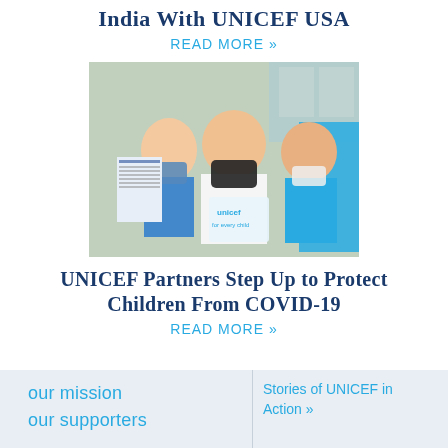India With UNICEF USA
READ MORE »
[Figure (photo): Three people wearing face masks, one holding a UNICEF branded bag that reads 'unicef for every child'. They appear to be in an indoor setting.]
UNICEF Partners Step Up to Protect Children From COVID-19
READ MORE »
our mission | our supporters | Stories of UNICEF in Action »